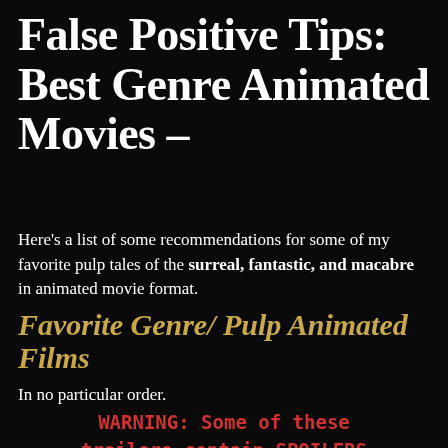False Positive Tips: Best Genre Animated Movies –
Here's a list of some recommendations for some of my favorite pulp tales of the surreal, fantastic, and macabre in animated movie format.
Favorite Genre/ Pulp Animated Films
In no particular order.
WARNING: Some of these trailers contain SPOILERS